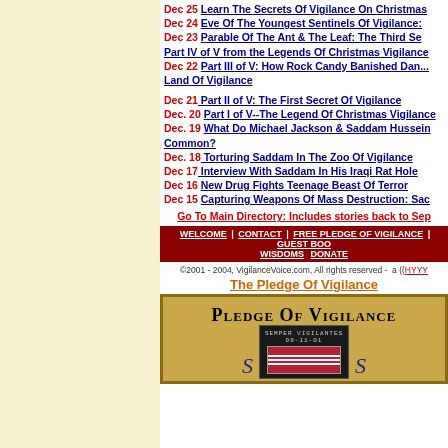Dec 25 Learn The Secrets Of Vigilance On Christmas
Dec 24 Eve Of The Youngest Sentinels Of Vigilance:
Dec 23 Parable Of The Ant & The Leaf: The Third Se... Part IV of V from the Legends Of Christmas Vigilance
Dec 22 Part III of V: How Rock Candy Banished Dan... Land Of Vigilance
Dec 21 Part II of V: The First Secret Of Vigilance
Dec. 20 Part I of V--The Legend Of Christmas Vigilance
Dec. 19 What Do Michael Jackson & Saddam Hussein Have In Common?
Dec. 18 Torturing Saddam In The Zoo Of Vigilance
Dec 17 Interview With Saddam In His Iraqi Rat Hole
Dec 16 New Drug Fights Teenage Beast Of Terror
Dec 15 Capturing Weapons Of Mass Destruction: Saddam
Go To Main Directory: Includes stories back to September
WELCOME | CONTACT | FREE PLEDGE OF VIGILANCE | GUEST BOOK | WISDOMS | DONATE
©2001 - 2004, VigilanceVoice.com, All rights reserved - a ((HYYR...
The Pledge Of Vigilance
[Figure (illustration): Pledge of Vigilance certificate/document with decorative border, title 'Pledge Of Vigilance' in small caps, Semper Vigilantes 09-11-01 badge with American flag, and decorative scroll elements on sides]